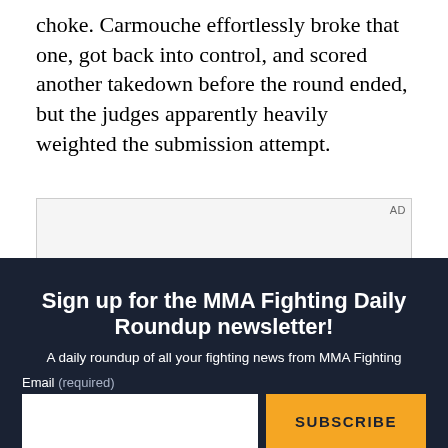choke. Carmouche effortlessly broke that one, got back into control, and scored another takedown before the round ended, but the judges apparently heavily weighted the submission attempt.
[Figure (other): Advertisement placeholder box with 'AD' label]
Sign up for the MMA Fighting Daily Roundup newsletter!
A daily roundup of all your fighting news from MMA Fighting
Email (required)
SUBSCRIBE
By submitting your email, you agree to our Terms and Privacy Notice. You can opt out at any time. This site is protected by reCAPTCHA and the Google Privacy Policy and Terms of Service apply.